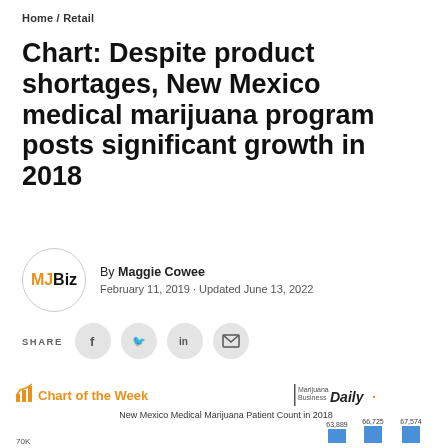Home / Retail
Chart: Despite product shortages, New Mexico medical marijuana program posts significant growth in 2018
By Maggie Cowee
February 11, 2019 - Updated June 13, 2022
SHARE
[Figure (bar-chart): New Mexico Medical Marijuana Patient Count in 2018]